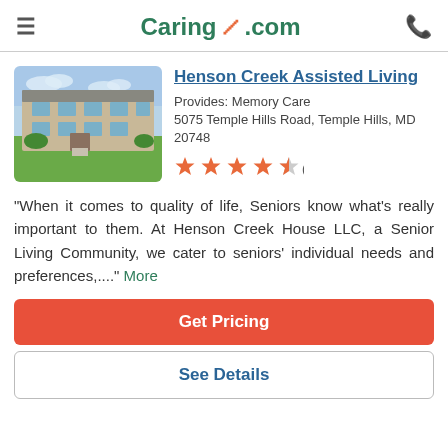Caring.com
Henson Creek Assisted Living
Provides: Memory Care
5075 Temple Hills Road, Temple Hills, MD 20748
[Figure (other): Rating: 4.5 out of 5 stars (12 reviews)]
[Figure (photo): Photo of Henson Creek Assisted Living building exterior with green lawn]
"When it comes to quality of life, Seniors know what's really important to them. At Henson Creek House LLC, a Senior Living Community, we cater to seniors' individual needs and preferences,..." More
Get Pricing
See Details